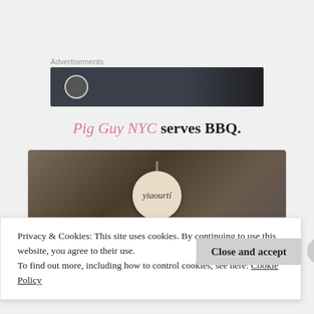Advertisements
[Figure (screenshot): Dark advertisement banner with circular logo on left]
Pig Guy NYC serves BBQ.
[Figure (photo): Photo of a round wooden sign reading 'yiaourtí' hanging from ceiling inside a restaurant with exposed ductwork. Below the photo is partial bold text.]
Privacy & Cookies: This site uses cookies. By continuing to use this website, you agree to their use.
To find out more, including how to control cookies, see here: Cookie Policy
Close and accept